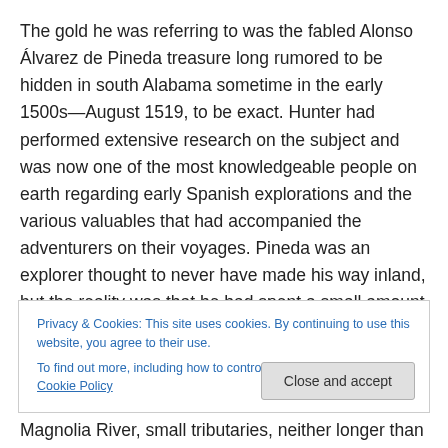The gold he was referring to was the fabled Alonso Álvarez de Pineda treasure long rumored to be hidden in south Alabama sometime in the early 1500s—August 1519, to be exact. Hunter had performed extensive research on the subject and was now one of the most knowledgeable people on earth regarding early Spanish explorations and the various valuables that had accompanied the adventurers on their voyages. Pineda was an explorer thought to never have made his way inland, but the reality was that he had spent a small amount of time in south Alabama, sailing north through
Privacy & Cookies: This site uses cookies. By continuing to use this website, you agree to their use.
To find out more, including how to control cookies, see here: Cookie Policy
Close and accept
Magnolia River, small tributaries, neither longer than